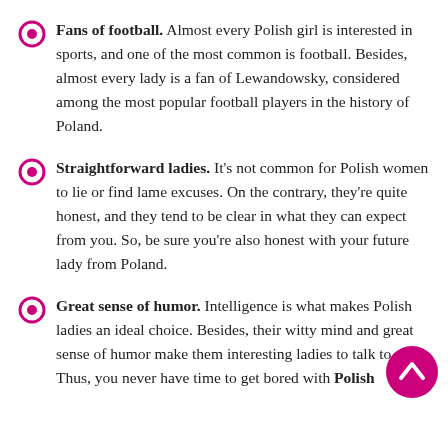Fans of football. Almost every Polish girl is interested in sports, and one of the most common is football. Besides, almost every lady is a fan of Lewandowsky, considered among the most popular football players in the history of Poland.
Straightforward ladies. It's not common for Polish women to lie or find lame excuses. On the contrary, they're quite honest, and they tend to be clear in what they can expect from you. So, be sure you're also honest with your future lady from Poland.
Great sense of humor. Intelligence is what makes Polish ladies an ideal choice. Besides, their witty mind and great sense of humor make them interesting ladies to talk to. Thus, you never have time to get bored with Polish